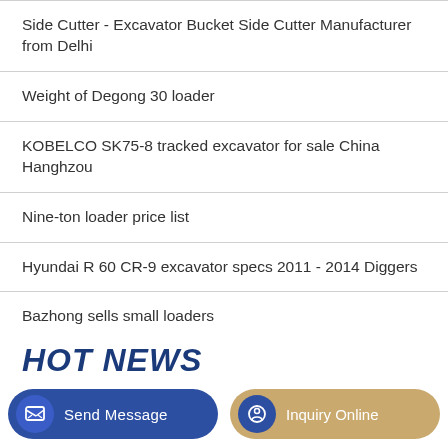Side Cutter - Excavator Bucket Side Cutter Manufacturer from Delhi
Weight of Degong 30 loader
KOBELCO SK75-8 tracked excavator for sale China Hanghzou
Nine-ton loader price list
Hyundai R 60 CR-9 excavator specs 2011 - 2014 Diggers
Bazhong sells small loaders
HOT NEWS
Send Message
Inquiry Online